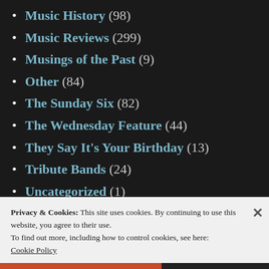Music History (98)
Music Reviews (299)
Musings of the Past (9)
Other (84)
The Sunday Six (82)
The Wednesday Feature (44)
They Say It's Your Birthday (13)
Tribute Bands (24)
Uncategorized (1)
What I've Been Listening To... (122)
Year In Review (13)
Privacy & Cookies: This site uses cookies. By continuing to use this website, you agree to their use.
To find out more, including how to control cookies, see here: Cookie Policy
Close and accept